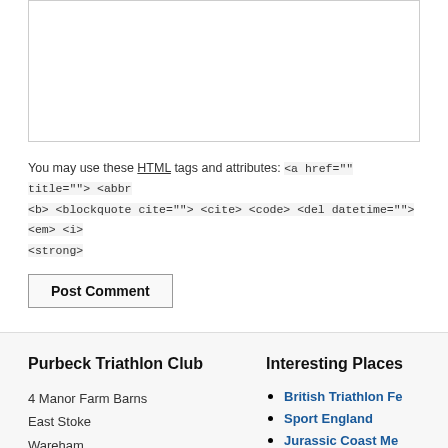[Figure (screenshot): Empty textarea input box for comment submission]
You may use these HTML tags and attributes: <a href="" title=""> <abbr <b> <blockquote cite=""> <cite> <code> <del datetime=""> <em> <i> <strong>
Post Comment
Purbeck Triathlon Club
4 Manor Farm Barns
East Stoke
Wareham
Dorset
BH20 6AW
01929 460065
hello@tripurbeck.com
Interesting Places
British Triathlon Fe
Sport England
Jurassic Coast Me
Primera
Goal Specific Coac
Planet X
Dorset Flapjacks